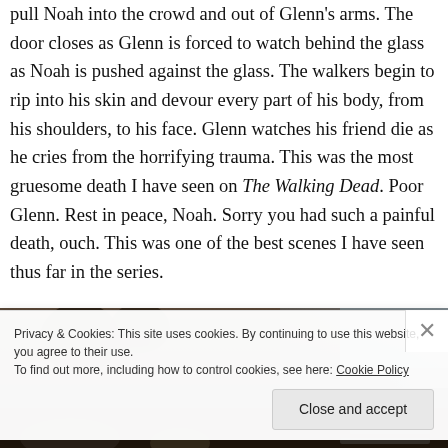pull Noah into the crowd and out of Glenn's arms. The door closes as Glenn is forced to watch behind the glass as Noah is pushed against the glass. The walkers begin to rip into his skin and devour every part of his body, from his shoulders, to his face. Glenn watches his friend die as he cries from the horrifying trauma. This was the most gruesome death I have seen on The Walking Dead. Poor Glenn. Rest in peace, Noah. Sorry you had such a painful death, ouch. This was one of the best scenes I have seen thus far in the series.
[Figure (photo): Partial photo from The Walking Dead scene, showing dark/dim imagery]
Privacy & Cookies: This site uses cookies. By continuing to use this website, you agree to their use.
To find out more, including how to control cookies, see here: Cookie Policy
Close and accept